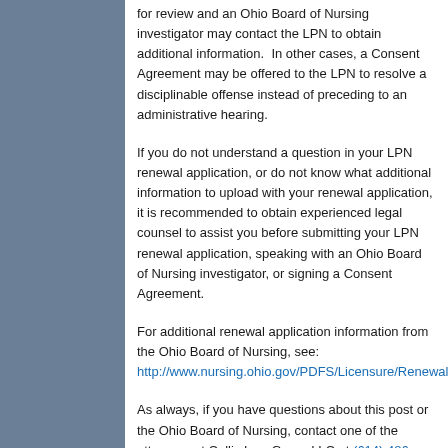for review and an Ohio Board of Nursing investigator may contact the LPN to obtain additional information.  In other cases, a Consent Agreement may be offered to the LPN to resolve a disciplinable offense instead of preceding to an administrative hearing.
If you do not understand a question in your LPN renewal application, or do not know what additional information to upload with your renewal application, it is recommended to obtain experienced legal counsel to assist you before submitting your LPN renewal application, speaking with an Ohio Board of Nursing investigator, or signing a Consent Agreement.
For additional renewal application information from the Ohio Board of Nursing, see: http://www.nursing.ohio.gov/PDFS/Licensure/Renewal/Renewal...
As always, if you have questions about this post or the Ohio Board of Nursing, contact one of the attorneys at Collis Law Group LLC at (614) 486-3909.